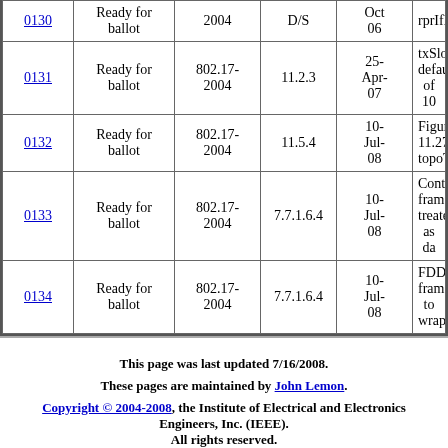| # | Status | Version | Section | Date | Description |
| --- | --- | --- | --- | --- | --- |
| 0130 | Ready for ballot | 802.17-2004 | D/S | Oct 06 | rprIfIdleThr... |
| 0131 | Ready for ballot | 802.17-2004 | 11.2.3 | 25-Apr-07 | txSlowTimeo... default of 10... |
| 0132 | Ready for ballot | 802.17-2004 | 11.5.4 | 10-Jul-08 | Figure 11.27... topoType. |
| 0133 | Ready for ballot | 802.17-2004 | 7.7.1.6.4 | 10-Jul-08 | Control fram... treated as da... |
| 0134 | Ready for ballot | 802.17-2004 | 7.7.1.6.4 | 10-Jul-08 | FDD frames... to wrap. |
This page was last updated 7/16/2008.
These pages are maintained by John Lemon.
Copyright © 2004-2008, the Institute of Electrical and Electronics Engineers, Inc. (IEEE). All rights reserved.
This website may contain names, logos, designs, titles, words, or phrases that may constitute trademarks, service marks, or trade names of the IEEE or other entities which may be registered in certain jurisdictions.